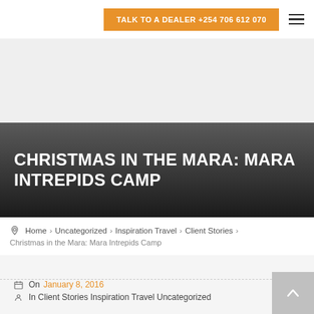TALK TO A DEALER +254 706 612 070
CHRISTMAS IN THE MARA: MARA INTREPIDS CAMP
Home › Uncategorized › Inspiration Travel › Client Stories › Christmas in the Mara: Mara Intrepids Camp
On January 8, 2016
In Client Stories Inspiration Travel Uncategorized
we got rooms by the river and the view was very